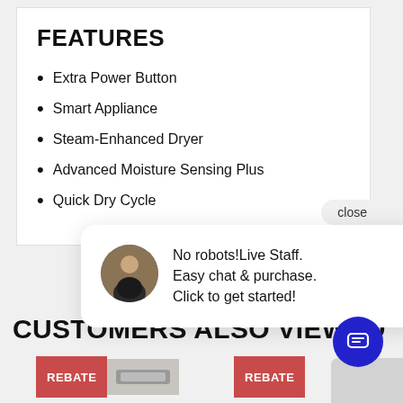FEATURES
Extra Power Button
Smart Appliance
Steam-Enhanced Dryer
Advanced Moisture Sensing Plus
Quick Dry Cycle
[Figure (screenshot): Close button (pill-shaped, gray background)]
[Figure (screenshot): Live chat popup with avatar photo and text: No robots!Live Staff. Easy chat & purchase. Click to get started!]
CUSTOMERS ALSO VIEWED
[Figure (screenshot): Rebate label (red) with product image thumbnail]
[Figure (screenshot): Rebate label (red) second instance]
[Figure (screenshot): Blue circular chat button with message icon]